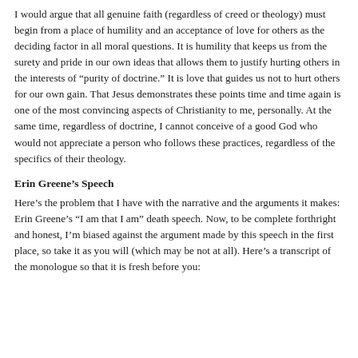I would argue that all genuine faith (regardless of creed or theology) must begin from a place of humility and an acceptance of love for others as the deciding factor in all moral questions. It is humility that keeps us from the surety and pride in our own ideas that allows them to justify hurting others in the interests of “purity of doctrine.” It is love that guides us not to hurt others for our own gain. That Jesus demonstrates these points time and time again is one of the most convincing aspects of Christianity to me, personally. At the same time, regardless of doctrine, I cannot conceive of a good God who would not appreciate a person who follows these practices, regardless of the specifics of their theology.
Erin Greene’s Speech
Here’s the problem that I have with the narrative and the arguments it makes: Erin Greene’s “I am that I am” death speech. Now, to be complete forthright and honest, I’m biased against the argument made by this speech in the first place, so take it as you will (which may be not at all). Here’s a transcript of the monologue so that it is fresh before you: